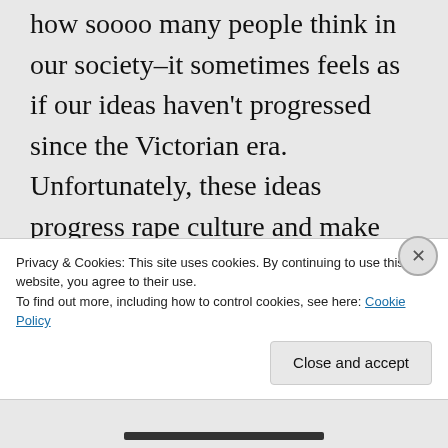how soooo many people think in our society–it sometimes feels as if our ideas haven't progressed since the Victorian era. Unfortunately, these ideas progress rape culture and make society dangerous for women. That is what this article is fighting against.
Like
Privacy & Cookies: This site uses cookies. By continuing to use this website, you agree to their use. To find out more, including how to control cookies, see here: Cookie Policy
Close and accept